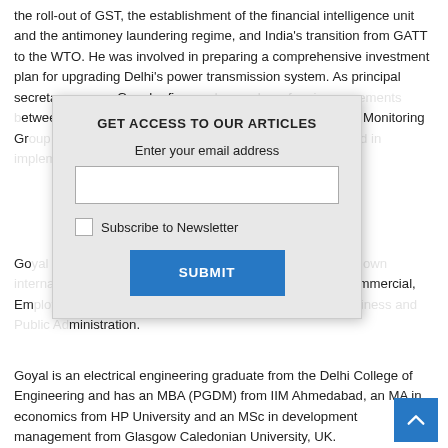the roll-out of GST, the establishment of the financial intelligence unit and the antimoney laundering regime, and India's transition from GATT to the WTO. He was involved in preparing a comprehensive investment plan for upgrading Delhi's power transmission system. As principal secretary, power, Goa, hefinanced [text obscured by modal] between the central [text obscured] Project Monitoring Group [text obscured] ous issues and fast [text obscured] enting large public [text obscured] cts.
[Figure (other): Modal dialog overlay: 'GET ACCESS TO OUR ARTICLES' with email input field, Subscribe to Newsletter checkbox, and SUBMIT button]
Goyal [text obscured by modal] acets of finance with [text obscured] ons such as specific [text obscured] c and commercial, Emergency [text obscured] gence Unit-India; and [text obscured] nistration.
Goyal is an electrical engineering graduate from the Delhi College of Engineering and has an MBA (PGDM) from IIM Ahmedabad, an MA in economics from HP University and an MSc in development management from Glasgow Caledonian University, UK.